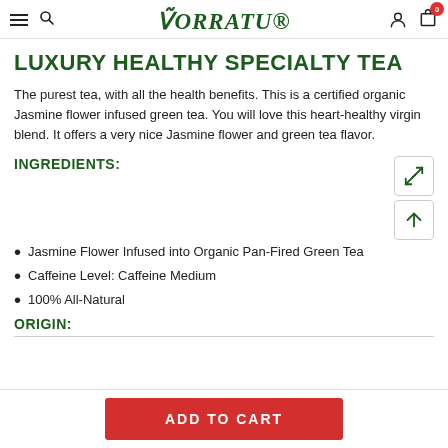VORRATU
LUXURY HEALTHY SPECIALTY TEA
The purest tea, with all the health benefits. This is a certified organic Jasmine flower infused green tea. You will love this heart-healthy virgin blend. It offers a very nice Jasmine flower and green tea flavor.
INGREDIENTS:
Jasmine Flower Infused into Organic Pan-Fired Green Tea
Caffeine Level: Caffeine Medium
100% All-Natural
ORIGIN: